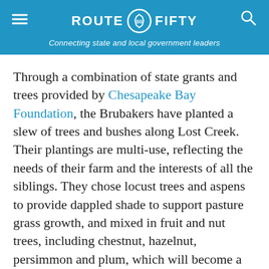ROUTE FIFTY — Connecting state and local government leaders
Through a combination of state grants and trees provided by Chesapeake Bay Foundation, the Brubakers have planted a slew of trees and bushes along Lost Creek. Their plantings are multi-use, reflecting the needs of their farm and the interests of all the siblings. They chose locust trees and aspens to provide dappled shade to support pasture grass growth, and mixed in fruit and nut trees, including chestnut, hazelnut, persimmon and plum, which will become a perfect spot for livestock grazing. Nearer the